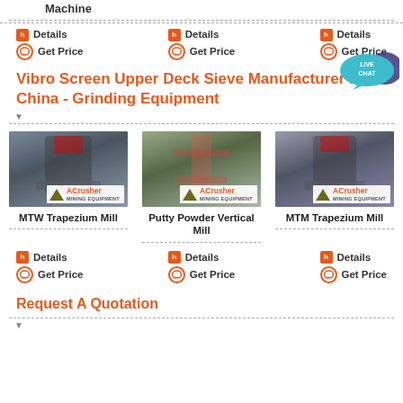Machine
Details | Get Price (column 1, top)
Details | Get Price (column 2, top)
Details | Get Price (column 3, top)
[Figure (illustration): Live Chat bubble icon in teal/purple]
Vibro Screen Upper Deck Sieve Manufacturer In China - Grinding Equipment
[Figure (photo): MTW Trapezium Mill machine photo with ACrusher Mining Equipment logo]
MTW Trapezium Mill
[Figure (photo): Putty Powder Vertical Mill machine photo with ACrusher Mining Equipment logo]
Putty Powder Vertical Mill
[Figure (photo): MTM Trapezium Mill machine photo with ACrusher Mining Equipment logo]
MTM Trapezium Mill
Details | Get Price (column 1, bottom)
Details | Get Price (column 2, bottom)
Details | Get Price (column 3, bottom)
Request A Quotation